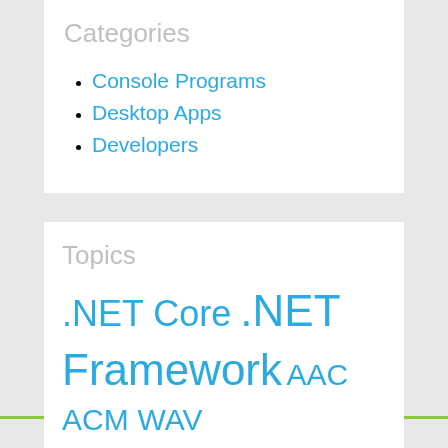Categories
Console Programs
Desktop Apps
Developers
Topics
.NET Core .NET Framework AAC ACM WAV APE Audio CD Burner Audio CD Ripper Audio Converter Audio Cutter Audio Joiner Audio Player Audio Recorder Audio Visualization AVI Burn Audio